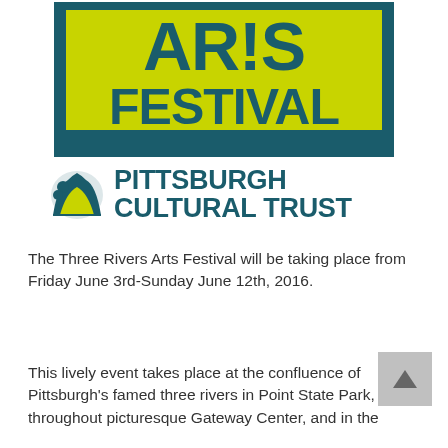[Figure (logo): Three Rivers Arts Festival logo — yellow-green rectangle with 'ARTS FESTIVAL' text in dark teal bold letters, and Pittsburgh Cultural Trust logo below with tree/landscape icon]
The Three Rivers Arts Festival will be taking place from Friday June 3rd-Sunday June 12th, 2016.
This lively event takes place at the confluence of Pittsburgh's famed three rivers in Point State Park, throughout picturesque Gateway Center, and in the